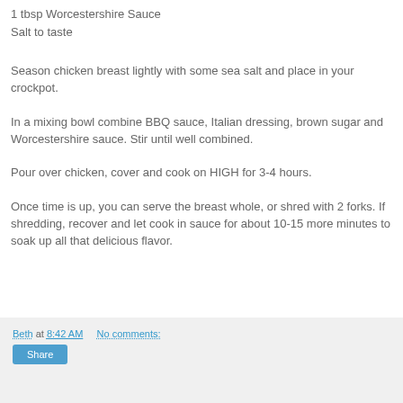1 tbsp Worcestershire Sauce
Salt to taste
Season chicken breast lightly with some sea salt and place in your crockpot.
In a mixing bowl combine BBQ sauce, Italian dressing, brown sugar and Worcestershire sauce. Stir until well combined.
Pour over chicken, cover and cook on HIGH for 3-4 hours.
Once time is up, you can serve the breast whole, or shred with 2 forks. If shredding, recover and let cook in sauce for about 10-15 more minutes to soak up all that delicious flavor.
Beth at 8:42 AM   No comments:   Share